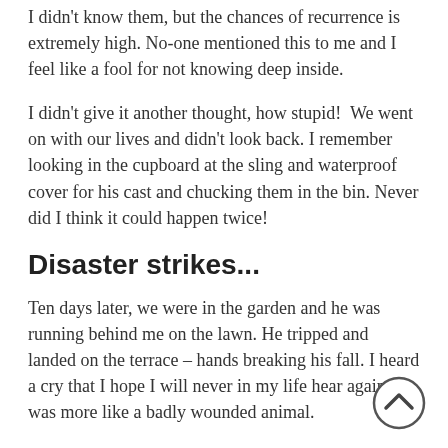I didn't know them, but the chance of recurrence is extremely high. No-one mentioned this to me and I feel like a fool for not knowing deep inside.
I didn't give it another thought, how stupid!  We went on with our lives and didn't look back. I remember looking in the cupboard at the sling and waterproof cover for his cast and chucking them in the bin. Never did I think it could happen twice!
Disaster strikes...
Ten days later, we were in the garden and he was running behind me on the lawn. He tripped and landed on the terrace – hands breaking his fall. I heard a cry that I hope I will never in my life hear again, it was more like a badly wounded animal.
I picked him up and to my horror, his arm was bent like a drinking straw. It was so distorted, my